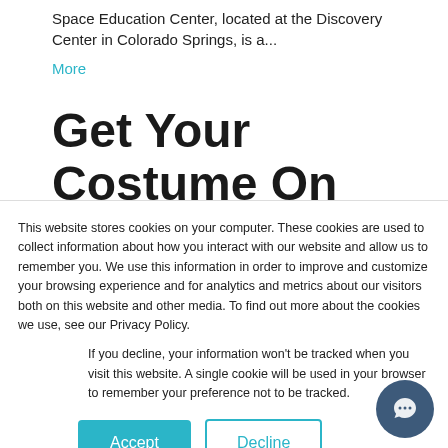Space Education Center, located at the Discovery Center in Colorado Springs, is a...
More
Get Your Costume On with Stargazing and
This website stores cookies on your computer. These cookies are used to collect information about how you interact with our website and allow us to remember you. We use this information in order to improve and customize your browsing experience and for analytics and metrics about our visitors both on this website and other media. To find out more about the cookies we use, see our Privacy Policy.
If you decline, your information won't be tracked when you visit this website. A single cookie will be used in your browser to remember your preference not to be tracked.